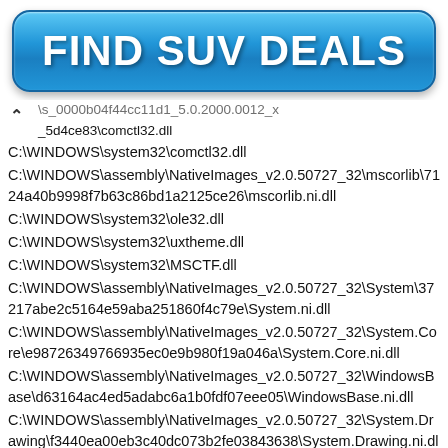[Figure (other): Blue rounded button with white bold text reading FIND SUV DEALS]
...s_0000b04f44cc11d1_5.0.2000.0012_x
_5d4ce83\comctl32.dll
C:\WINDOWS\system32\comctl32.dll
C:\WINDOWS\assembly\NativeImages_v2.0.50727_32\mscorlib\7124a40b9998f7b63c86bd1a2125ce26\mscorlib.ni.dll
C:\WINDOWS\system32\ole32.dll
C:\WINDOWS\system32\uxtheme.dll
C:\WINDOWS\system32\MSCTF.dll
C:\WINDOWS\assembly\NativeImages_v2.0.50727_32\System\37217abe2c5164e59aba251860f4c79e\System.ni.dll
C:\WINDOWS\assembly\NativeImages_v2.0.50727_32\System.Core\e98726349766935ec0e9b980f19a046a\System.Core.ni.dll
C:\WINDOWS\assembly\NativeImages_v2.0.50727_32\WindowsBase\d63164ac4ed5adabc6a1b0fdf07eee05\WindowsBase.ni.dll
C:\WINDOWS\assembly\NativeImages_v2.0.50727_32\System.Drawing\f3440ea00eb3c40dc073b2fe03843638\System.Drawing.ni.dll
C:\WINDOWS\assembly\NativeImages_v2.0.50727_32\System.Wind
ows.Forms\2dfe945e4b1577fdee9e2f456db9efe2\System.Window...